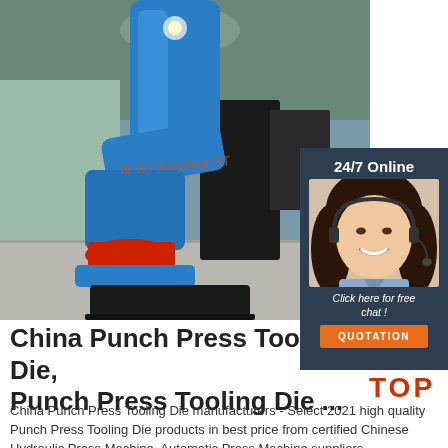[Figure (photo): Photograph of a blue industrial punch press machine arm in a factory/warehouse setting. The machine has a large blue arm/body with red safety tray at the bottom, mounted on a dark base. Factory floor and walls visible in background. Anyang ST watermark overlaid on the image.]
[Figure (infographic): Dark navy overlay panel showing '24/7 Online' text, photo of a female customer service representative wearing a headset and smiling, italic text 'Click here for free chat!', and an orange 'QUOTATION' button.]
China Punch Press Tooling Die, Punch Press Tooling Die ...
[Figure (logo): TOP logo with orange/red dots arranged in triangle shape above the word TOP in orange/red bold letters]
China Punch Press Tooling Die manufacturers - Select 2021 high quality Punch Press Tooling Die products in best price from certified Chinese Hydraulic Press Machine, Automatic Press Machine suppliers,